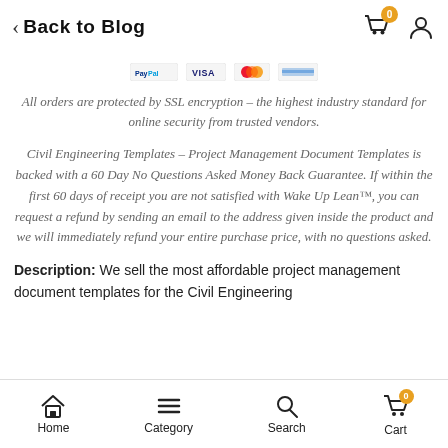Back to Blog
[Figure (logo): Payment method icons: PayPal, VISA, Mastercard, credit card]
All orders are protected by SSL encryption – the highest industry standard for online security from trusted vendors.
Civil Engineering Templates – Project Management Document Templates is backed with a 60 Day No Questions Asked Money Back Guarantee. If within the first 60 days of receipt you are not satisfied with Wake Up Lean™, you can request a refund by sending an email to the address given inside the product and we will immediately refund your entire purchase price, with no questions asked.
Description: We sell the most affordable project management document templates for the Civil Engineering
Home  Category  Search  Cart